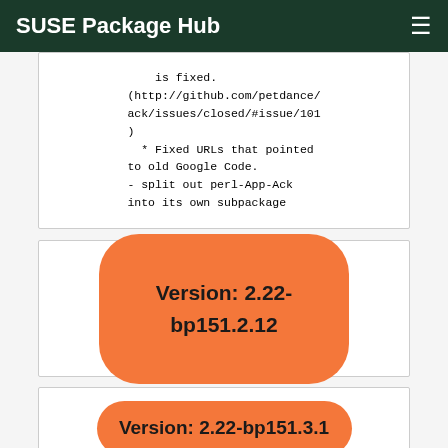SUSE Package Hub
is fixed.
(http://github.com/petdance/ack/issues/closed/#issue/101
)
  * Fixed URLs that pointed
to old Google Code.
- split out perl-App-Ack
into its own subpackage
Version: 2.22-bp151.2.12
Version: 2.22-bp151.3.1